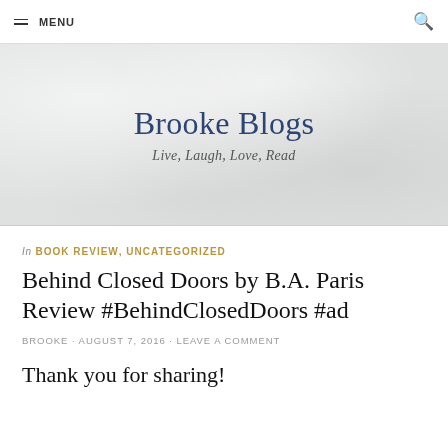MENU
Brooke Blogs
Live, Laugh, Love, Read
In BOOK REVIEW, UNCATEGORIZED
Behind Closed Doors by B.A. Paris Review #BehindClosedDoors #ad
BROOKE · AUGUST 7, 2016 · LEAVE A COMMENT
Thank you for sharing!